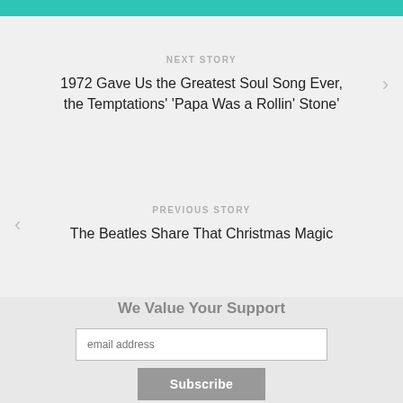NEXT STORY
1972 Gave Us the Greatest Soul Song Ever, the Temptations' 'Papa Was a Rollin' Stone'
PREVIOUS STORY
The Beatles Share That Christmas Magic
We Value Your Support
email address
Subscribe